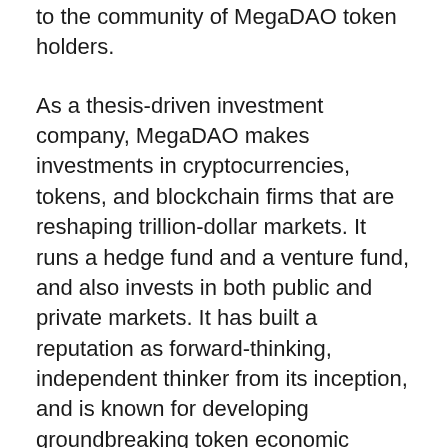to the community of MegaDAO token holders.
As a thesis-driven investment company, MegaDAO makes investments in cryptocurrencies, tokens, and blockchain firms that are reshaping trillion-dollar markets. It runs a hedge fund and a venture fund, and also invests in both public and private markets. It has built a reputation as forward-thinking, independent thinker from its inception, and is known for developing groundbreaking token economic models and valuation procedures, as well as challenging long-held assumptions in the crypto community.
MegaDAO is here to incentivize and maximize engagement of all active participants within the Mega ecosystem and attributed projects, partnerships, and networks; provide Governance-as-a-Service (GaaS) and every exhaustible